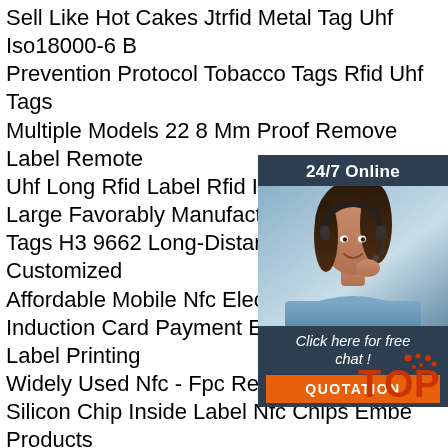Sell Like Hot Cakes Jtrfid Metal Tag Uhf Iso18000-6 B Prevention Protocol Tobacco Tags Rfid Uhf Tags Multiple Models 22 8 Mm Proof Remove Label Remote Uhf Long Rfid Label Rfid Ic Card Large Favorably Manufacturers Wholesale Tags H3 9662 Long-Distance Wet Inlay E Customized Affordable Mobile Nfc Electronic Tag Intel Induction Card Payment Entrance Guard Label Printing Widely Used Nfc - Fpc Resistance Metal T Silicon Chip Inside Label Nfc Chips Embe Products Anti-Interference Nfc Electronic Label Fac Adhesive Rfid Coin Labels Rfid Anti-Counterfeit Label Brand After-Sale Warranty Luxury Vip Card Membership Card Grind Arenaceous Metal Card Barcode Card Integral Card Embossed Cards Wholesale Manufacturer Provides Straightly Rfid
[Figure (other): Chat widget with woman in headset, 24/7 Online label, Click here for free chat text, and QUOTATION orange button]